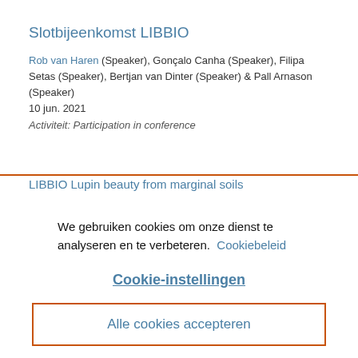Slotbijeenkomst LIBBIO
Rob van Haren (Speaker), Gonçalo Canha (Speaker), Filipa Setas (Speaker), Bertjan van Dinter (Speaker) & Pall Arnason (Speaker)
10 jun. 2021
Activiteit: Participation in conference
LIBBIO Lupin beauty from marginal soils
We gebruiken cookies om onze dienst te analyseren en te verbeteren.  Cookiebeleid
Cookie-instellingen
Alle cookies accepteren